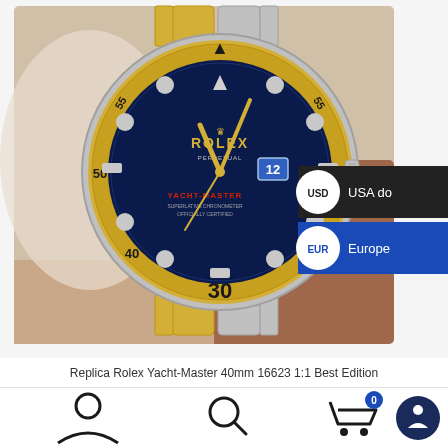[Figure (photo): Close-up photo of a Rolex Yacht-Master 40mm watch with gold bezel, blue dial, and two-tone gold and steel bracelet, displayed against a light fabric background.]
USD  USA do
EUR  Europe
Replica Rolex Yacht-Master 40mm 16623 1:1 Best Edition
[Figure (illustration): Bottom navigation bar with person/account icon, search magnifying glass icon, shopping cart icon with badge showing 0, and a dark blue circular icon.]